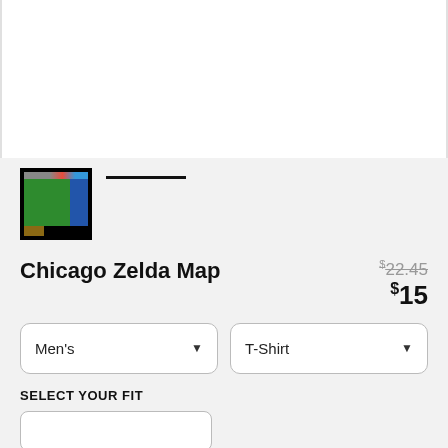[Figure (photo): Product image area — white background with border, partially visible (cropped at top)]
[Figure (photo): Thumbnail image of Chicago Zelda Map product — small image with black border showing a green map of Chicago styled as a Zelda game map]
Chicago Zelda Map
$22.45 (strikethrough original price) $15 (sale price)
Men's (dropdown)
T-Shirt (dropdown)
SELECT YOUR FIT